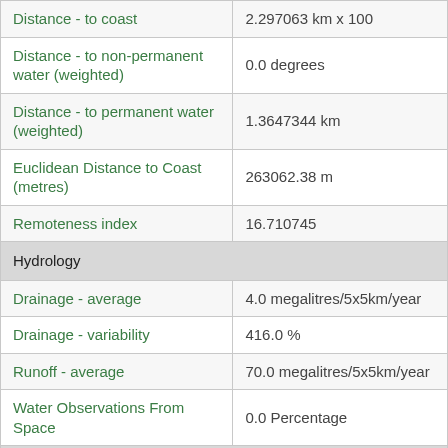| Attribute | Value |
| --- | --- |
| Distance - to coast | 2.297063 km x 100 |
| Distance - to non-permanent water (weighted) | 0.0 degrees |
| Distance - to permanent water (weighted) | 1.3647344 km |
| Euclidean Distance to Coast (metres) | 263062.38 m |
| Remoteness index | 16.710745 |
| Hydrology |  |
| Drainage - average | 4.0 megalitres/5x5km/year |
| Drainage - variability | 416.0 % |
| Runoff - average | 70.0 megalitres/5x5km/year |
| Water Observations From Space | 0.0 Percentage |
| Social |  |
| Population - density SLA 2006 | 0.0 people/km^2 |